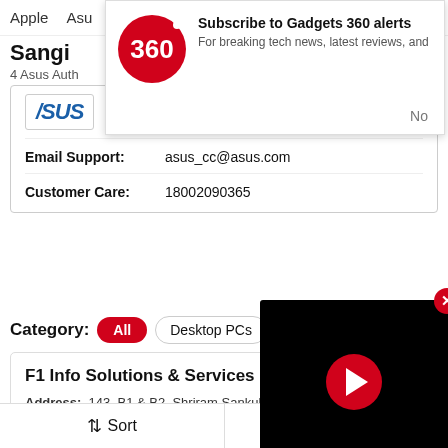Apple  Asu
[Figure (screenshot): Gadgets 360 notification overlay with red circular logo showing '360' and dot, with text 'Subscribe to Gadgets 360 alerts - For breaking tech news, latest reviews, and' and a 'No' link]
Sangi...
4 Asus Auth...
[Figure (logo): ASUS logo in blue italic text]
Choose location
Email Support:  asus_cc@asus.com
Customer Care:  18002090365
Category:  All  Desktop PCs  ...  Mobil...
F1 Info Solutions & Services Limited
Address:  143, B1 & B2, Shriram Sankul Mandir, Near Chopade Hospital, North Shivajinagar Sangli 416416
[Figure (screenshot): Black video player overlay with red play button circle in center]
Sort  Filter